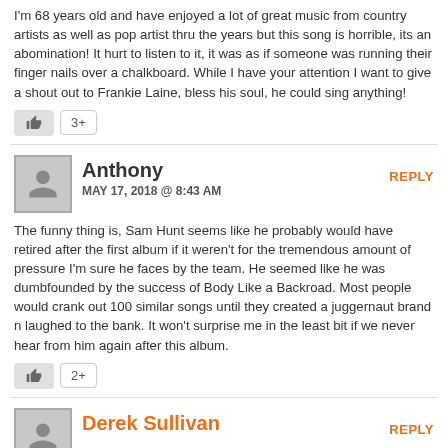I'm 68 years old and have enjoyed a lot of great music from country artists as well as pop artist thru the years but this song is horrible, its an abomination! It hurt to listen to it, it was as if someone was running their finger nails over a chalkboard. While I have your attention I want to give a shout out to Frankie Laine, bless his soul, he could sing anything!
3+
Anthony
MAY 17, 2018 @ 8:43 AM
REPLY
The funny thing is, Sam Hunt seems like he probably would have retired after the first album if it weren't for the tremendous amount of pressure I'm sure he faces by the team. He seemed like he was dumbfounded by the success of Body Like a Backroad. Most people would crank out 100 similar songs until they created a juggernaut brand n laughed to the bank. It won't surprise me in the least bit if we never hear from him again after this album.
2+
Derek Sullivan
REPLY